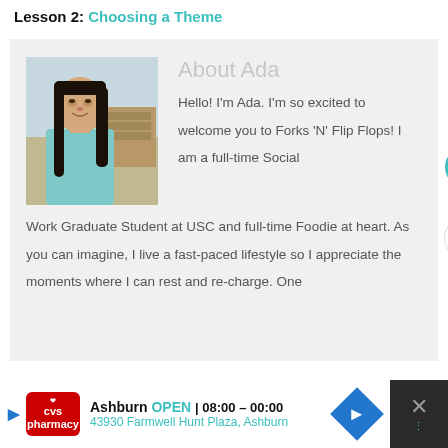Lesson 2: Choosing a Theme
[Figure (photo): Profile photo of Ada, a young woman with long dark hair wearing a light blue top, outdoors with a blurred background]
About Ada
Hello! I'm Ada. I'm so excited to welcome you to Forks ‘N’ Flip Flops! I am a full-time Social Work Graduate Student at USC and full-time Foodie at heart. As you can imagine, I live a fast-paced lifestyle so I appreciate the moments where I can rest and re-charge. One
[Figure (infographic): CVS Pharmacy advertisement bar showing: Ashburn OPEN 08:00–00:00, 43930 Farmwell Hunt Plaza, Ashburn. With CVS logo, navigation arrow icon, and close button.]